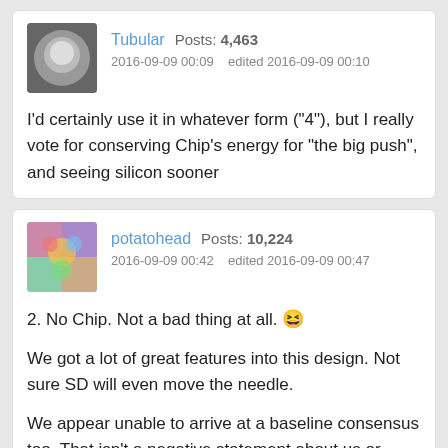Tubular  Posts: 4,463
2016-09-09 00:09   edited 2016-09-09 00:10
I'd certainly use it in whatever form ("4"), but I really vote for conserving Chip's energy for "the big push", and seeing silicon sooner
potatohead  Posts: 10,224
2016-09-09 00:42   edited 2016-09-09 00:47
2. No Chip. Not a bad thing at all. 😆
We got a lot of great features into this design. Not sure SD will even move the needle.
We appear unable to arrive at a baseline consensus too. That isn't a negative statement about us or anyone, more confirmation this feature has more considerations than we